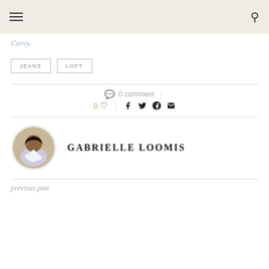Curvy.
JEANS
LOFT
0 comment
0
GABRIELLE LOOMIS
previous post